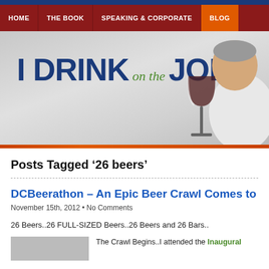Navigation: HOME | THE BOOK | SPEAKING & CORPORATE | BLOG
[Figure (screenshot): I DRINK on the JOB website hero banner with navigation bar and site logo/title with man and wine glass silhouette]
Posts Tagged ‘26 beers’
DCBeerathon – An Epic Beer Crawl Comes to
November 15th, 2012 • No Comments
26 Beers..26 FULL-SIZED Beers..26 Beers and 26 Bars..
The Crawl Begins..I attended the Inaugural